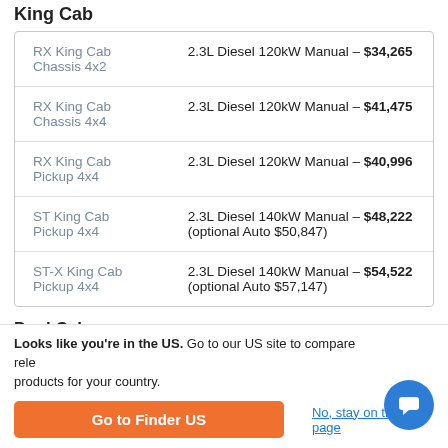King Cab
| Model | Specification |
| --- | --- |
| RX King Cab Chassis 4x2 | 2.3L Diesel 120kW Manual – $34,265 |
| RX King Cab Chassis 4x4 | 2.3L Diesel 120kW Manual – $41,475 |
| RX King Cab Pickup 4x4 | 2.3L Diesel 120kW Manual – $40,996 |
| ST King Cab Pickup 4x4 | 2.3L Diesel 140kW Manual – $48,222
(optional Auto $50,847) |
| ST-X King Cab Pickup 4x4 | 2.3L Diesel 140kW Manual – $54,522
(optional Auto $57,147) |
Dual Cab
Looks like you're in the US. Go to our US site to compare relevant products for your country.
Go to Finder US
No, stay on this page